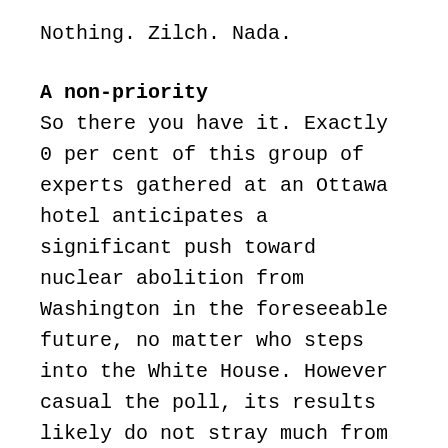Nothing. Zilch. Nada.
A non-priority
So there you have it. Exactly 0 per cent of this group of experts gathered at an Ottawa hotel anticipates a significant push toward nuclear abolition from Washington in the foreseeable future, no matter who steps into the White House. However casual the poll, its results likely do not stray much from the views of a much broader group of experts around the world–or from the official foreign policy platforms of those vying to become the next President of the United States.
The stubborn reality is that there is no